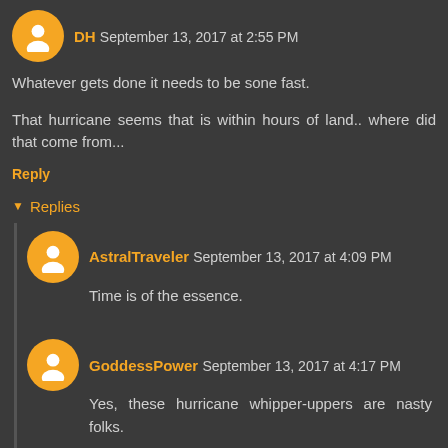DH September 13, 2017 at 2:55 PM
Whatever gets done it needs to be sone fast.
That hurricane seems that is within hours of land.. where did that come from...
Reply
Replies
AstralTraveler September 13, 2017 at 4:09 PM
Time is of the essence.
GoddessPower September 13, 2017 at 4:17 PM
Yes, these hurricane whipper-uppers are nasty folks.
Reply